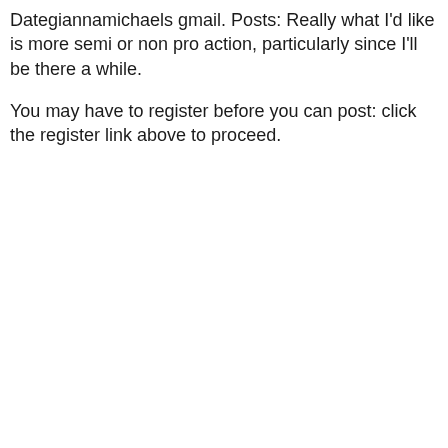Dategiannamichaels gmail. Posts: Really what I'd like is more semi or non pro action, particularly since I'll be there a while.
You may have to register before you can post: click the register link above to proceed.